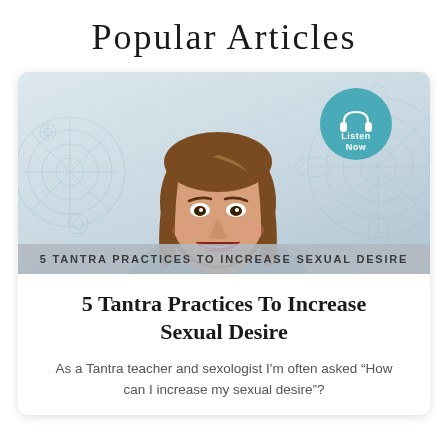Popular Articles
[Figure (photo): Article card with a smiling woman with long brown hair against a light blue mandala-patterned background. A teal circular badge reads 'Listen Now' with a headphone icon. A grey banner at the bottom of the image reads '5 TANTRA PRACTICES TO INCREASE SEXUAL DESIRE'.]
5 Tantra Practices To Increase Sexual Desire
As a Tantra teacher and sexologist I'm often asked “How can I increase my sexual desire”?